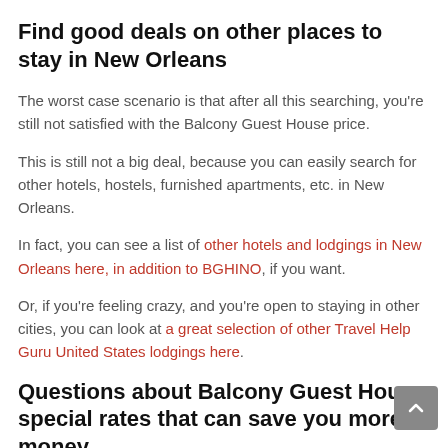Find good deals on other places to stay in New Orleans
The worst case scenario is that after all this searching, you're still not satisfied with the Balcony Guest House price.
This is still not a big deal, because you can easily search for other hotels, hostels, furnished apartments, etc. in New Orleans.
In fact, you can see a list of other hotels and lodgings in New Orleans here, in addition to BGHINO, if you want.
Or, if you're feeling crazy, and you're open to staying in other cities, you can look at a great selection of other Travel Help Guru United States lodgings here.
Questions about Balcony Guest House special rates that can save you more money